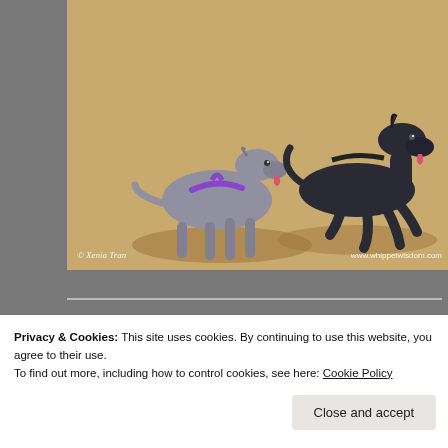[Figure (photo): Two dogs (whippets/greyhounds) running on a sandy beach. One wearing a purple harness on the left, one dark-colored on the right. Watermark: '© Xenia Tran' on left, 'www.whippetwisdom.com' on right.]
[Figure (photo): Three blog award badges in a row: 'Real Neat Blog Award' (blue circular mandala design), 'The Versatile Blogger' (pink circle on cream background), and 'Liebster Award' (teal/green badge with coral flowers).]
Privacy & Cookies: This site uses cookies. By continuing to use this website, you agree to their use.
To find out more, including how to control cookies, see here: Cookie Policy
Close and accept
AWARD